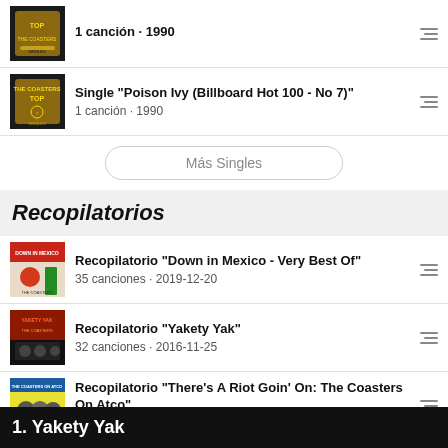Single "Poison Ivy (Billboard Hot 100 - No 7)" · 1 canción · 1990
Single "Poison Ivy (Billboard Hot 100 - No 7)" · 1 canción · 1990
Más Singles
Recopilatorios
Recopilatorio "Down in Mexico - Very Best Of" · 35 canciones · 2019-12-20
Recopilatorio "Yakety Yak" · 32 canciones · 2016-11-25
Recopilatorio "There's A Riot Goin' On: The Coasters On Atco" · 113 canciones · 2007-12-07
Recopilatorio "20 Greatest Hits" · 20 canciones · 1972
1. Yakety Yak